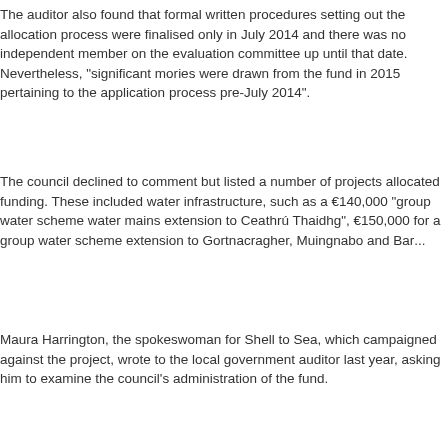The auditor also found that formal written procedures setting out the allocation process were finalised only in July 2014 and there was no independent member on the evaluation committee up until that date. Nevertheless, "significant monies were drawn from the fund in 2015 pertaining to the application process pre-July 2014".
The council declined to comment but listed a number of projects allocated funding. These included water infrastructure, such as a €140,000 "group water scheme water mains extension to Ceathrú Thaidhg", €150,000 for a group water scheme extension to Gortnacragher, Muingnabo and Bar...
Maura Harrington, the spokeswoman for Shell to Sea, which campaigned against the project, wrote to the local government auditor last year, asking him to examine the council's administration of the fund.
The fund was a condition of An Bord Pleanála's 2011 decision to grant permission to build the controversial pipeline. Shell said it had placed €8.5m in trust to the council and had no role in management or administration of th...